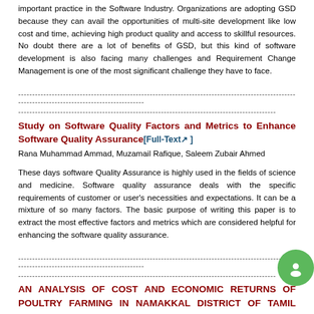important practice in the Software Industry. Organizations are adopting GSD because they can avail the opportunities of multi-site development like low cost and time, achieving high product quality and access to skillful resources. No doubt there are a lot of benefits of GSD, but this kind of software development is also facing many challenges and Requirement Change Management is one of the most significant challenge they have to face.
Study on Software Quality Factors and Metrics to Enhance Software Quality Assurance [Full-Text]
Rana Muhammad Ammad, Muzamail Rafique, Saleem Zubair Ahmed
These days software Quality Assurance is highly used in the fields of science and medicine. Software quality assurance deals with the specific requirements of customer or user's necessities and expectations. It can be a mixture of so many factors. The basic purpose of writing this paper is to extract the most effective factors and metrics which are considered helpful for enhancing the software quality assurance.
AN ANALYSIS OF COST AND ECONOMIC RETURNS OF POULTRY FARMING IN NAMAKKAL DISTRICT OF TAMIL NADU [Full-Text]